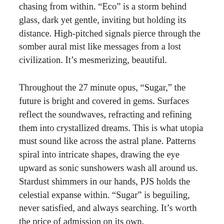chasing from within. “Eco” is a storm behind glass, dark yet gentle, inviting but holding its distance. High-pitched signals pierce through the somber aural mist like messages from a lost civilization. It’s mesmerizing, beautiful.
Throughout the 27 minute opus, “Sugar,” the future is bright and covered in gems. Surfaces reflect the soundwaves, refracting and refining them into crystallized dreams. This is what utopia must sound like across the astral plane. Patterns spiral into intricate shapes, drawing the eye upward as sonic sunshowers wash all around us. Stardust shimmers in our hands, PJS holds the celestial expanse within. “Sugar” is beguiling, never satisfied, and always searching. It’s worth the price of admission on its own.
Despite their long history and impressive discography, PJS is yet to achieve widespread...